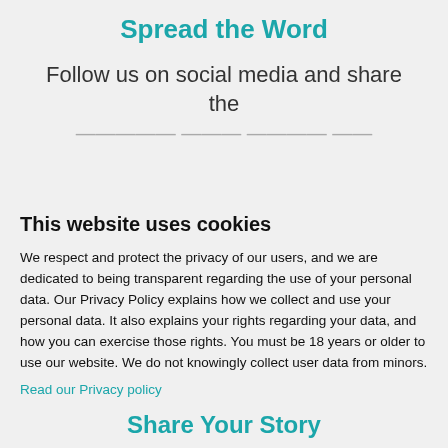Spread the Word
Follow us on social media and share the campaign. You never know which of your…
This website uses cookies
We respect and protect the privacy of our users, and we are dedicated to being transparent regarding the use of your personal data. Our Privacy Policy explains how we collect and use your personal data. It also explains your rights regarding your data, and how you can exercise those rights. You must be 18 years or older to use our website. We do not knowingly collect user data from minors.
Read our Privacy policy
I accept
Do not sell my personal data
Powered by:
Cookie Information
Share Your Story